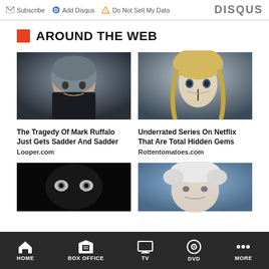Subscribe | Add Disqus | Do Not Sell My Data | DISQUS
AROUND THE WEB
[Figure (photo): Photo of Mark Ruffalo, middle-aged man with gray hair]
The Tragedy Of Mark Ruffalo Just Gets Sadder And Sadder
Looper.com
[Figure (photo): Photo of young blonde woman with dark eye makeup, character from The 100]
Underrated Series On Netflix That Are Total Hidden Gems
Rottentomatoes.com
[Figure (photo): Dark close-up photo showing eyes in darkness]
[Figure (photo): Photo of elderly man with white hair against blue background]
HOME | BOX OFFICE | TV | DVD | MORE